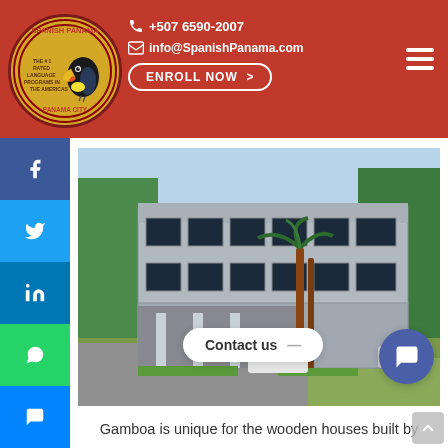[Figure (logo): Spanish Panama logo — circular badge with toucan bird, text 'SPANISH PANAMA', 'THE #1 RATED LANGUAGE PROGRAMS IN THE AMERICAS', 'PANAMA CITY' on gold/yellow background]
+507 6590-2007
info@SpanishPanama.com
ENROLL NOW >
[Figure (photo): Two-story wooden house in Gamboa, Panama, with covered parking area, palm trees, and lush green surroundings]
Contact us
Gamboa is unique for the wooden houses built by